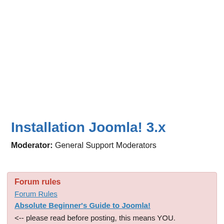Installation Joomla! 3.x
Moderator: General Support Moderators
Forum rules
Forum Rules
Absolute Beginner's Guide to Joomla! <-- please read before posting, this means YOU.
Forum Post Assistant - If you are serious about wanting